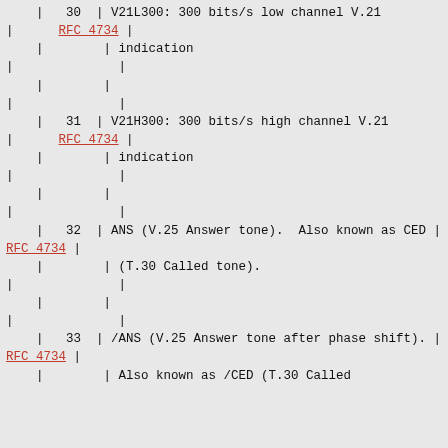| 30 | V21L300: 300 bits/s low channel V.21 | RFC 4734 | | indication | | | | | | | | 31 | V21H300: 300 bits/s high channel V.21 | RFC 4734 | | indication | | | | | | | | 32 | ANS (V.25 Answer tone). Also known as CED | RFC 4734 | | (T.30 Called tone). | | | | | | | | 33 | /ANS (V.25 Answer tone after phase shift). | RFC 4734 | | Also known as /CED (T.30 Called tone after phase shift).